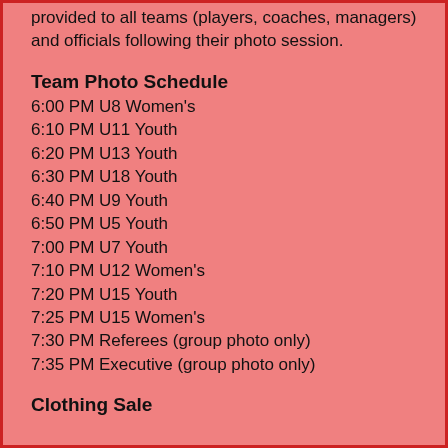provided to all teams (players, coaches, managers) and officials following their photo session.
Team Photo Schedule
6:00 PM U8 Women's
6:10 PM U11 Youth
6:20 PM U13 Youth
6:30 PM U18 Youth
6:40 PM U9 Youth
6:50 PM U5 Youth
7:00 PM U7 Youth
7:10 PM U12 Women's
7:20 PM U15 Youth
7:25 PM U15 Women's
7:30 PM Referees (group photo only)
7:35 PM Executive (group photo only)
Clothing Sale